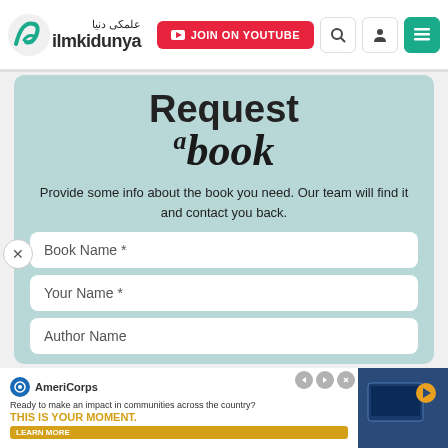ilmkidunya | JOIN ON YOUTUBE
Request a book
Provide some info about the book you need. Our team will find it and contact you back.
Book Name *
Your Name *
Author Name
[Figure (screenshot): AmeriCorps advertisement banner: Ready to make an impact in communities across the country? THIS IS YOUR MOMENT. LEARN MORE]